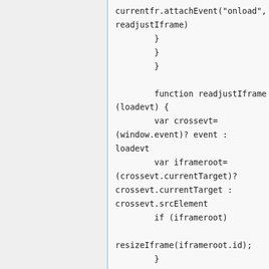currentfr.attachEvent("onload",readjustIframe)
        }
        }
        }

        function readjustIframe(loadevt) {
        var crossevt=
(window.event)? event :
loadevt
        var iframeroot=
(crossevt.currentTarget)?
crossevt.currentTarget :
crossevt.srcElement
        if (iframeroot)

resizeIframe(iframeroot.id);
        }

        function
loadintoIframe(iframeid,
url){
        if